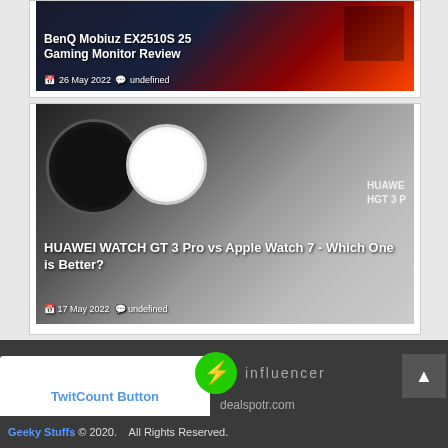[Figure (screenshot): BenQ Mobiuz EX2510S 25 Gaming Monitor Review article card with dark gaming-themed background]
BenQ Mobiuz EX2510S 25 Gaming Monitor Review
26 May 2022  undefined
[Figure (screenshot): HUAWEI WATCH GT 3 Pro vs Apple Watch 7 article card with watch images]
HUAWEI WATCH GT 3 Pro vs Apple Watch 7 - Which One is Better?
17 May 2022  undefined
[Figure (logo): Green circle influencer badge with lightning bolt icon and dealspotr.com text]
TwitCount Button
dealspotr.com
Geeky Stuffs © 2020.   All Rights Reserved.